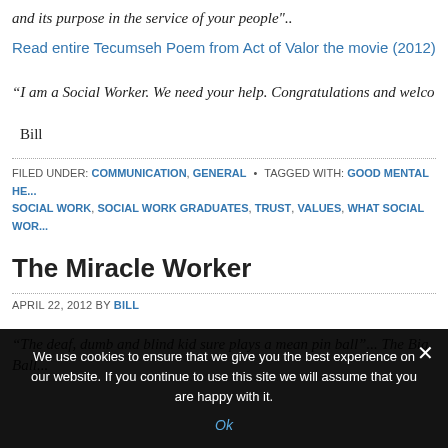and its purpose in the service of your people"..
Read entire Tecumseh Poem from Act of Valor the movie (2012)
"I am a Social Worker. We need your help. Congratulations and welco
Bill
FILED UNDER: COMMUNICATION, GENERAL • TAGGED WITH: GOOD MENTAL HE... SOCIAL WORK, SOCIAL WORK GRADUATES, TRUST, VALUES, WHAT SOCIAL WOR...
The Miracle Worker
APRIL 22, 2012 BY BILL
"The deaf, dumb and blind kid sure plays a mean pin ball"... The Big Ball...
We use cookies to ensure that we give you the best experience on our website. If you continue to use this site we will assume that you are happy with it.
Ok